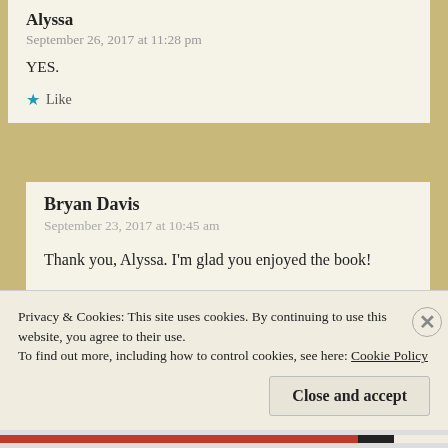Alyssa
September 26, 2017 at 11:28 pm
YES.
★ Like
Bryan Davis
September 23, 2017 at 10:45 am
Thank you, Alyssa. I'm glad you enjoyed the book!
★ Liked by 1 person
Privacy & Cookies: This site uses cookies. By continuing to use this website, you agree to their use. To find out more, including how to control cookies, see here: Cookie Policy
Close and accept